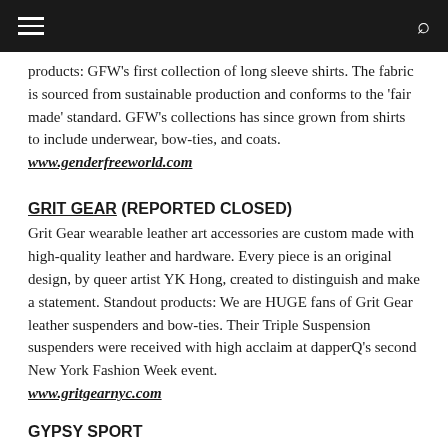≡  🔍
products: GFW's first collection of long sleeve shirts. The fabric is sourced from sustainable production and conforms to the 'fair made' standard. GFW's collections has since grown from shirts to include underwear, bow-ties, and coats. www.genderfreeworld.com
GRIT GEAR (REPORTED CLOSED)
Grit Gear wearable leather art accessories are custom made with high-quality leather and hardware. Every piece is an original design, by queer artist YK Hong, created to distinguish and make a statement. Standout products: We are HUGE fans of Grit Gear leather suspenders and bow-ties. Their Triple Suspension suspenders were received with high acclaim at dapperQ's second New York Fashion Week event. www.gritgearnyc.com
GYPSY SPORT